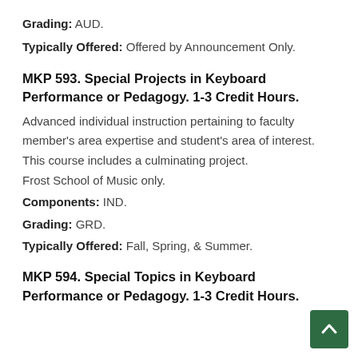Grading: AUD.
Typically Offered: Offered by Announcement Only.
MKP 593. Special Projects in Keyboard Performance or Pedagogy. 1-3 Credit Hours.
Advanced individual instruction pertaining to faculty member's area expertise and student's area of interest. This course includes a culminating project.
Frost School of Music only.
Components: IND.
Grading: GRD.
Typically Offered: Fall, Spring, & Summer.
MKP 594. Special Topics in Keyboard Performance or Pedagogy. 1-3 Credit Hours.